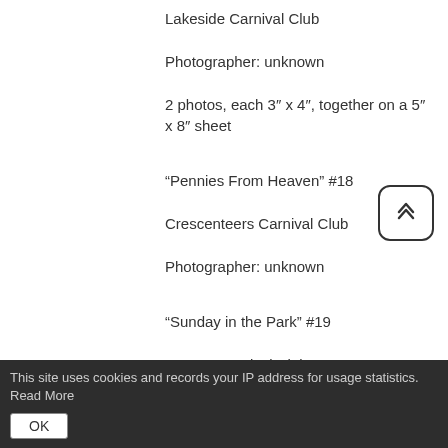Lakeside Carnival Club
Photographer: unknown
2 photos, each 3″ x 4″, together on a 5″ x 8″ sheet
“Pennies From Heaven” #18
Crescenteers Carnival Club
Photographer: unknown
“Sunday in the Park” #19
Jesters Carnival Club
Photographer: unknown
5″ x 7″
This site uses cookies and records your IP address for usage statistics. Read More
OK